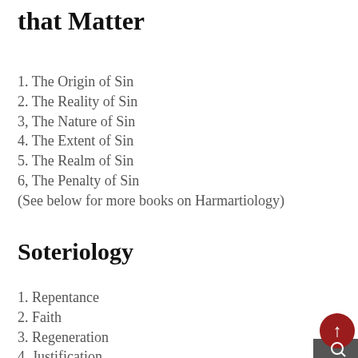that Matter
1. The Origin of Sin
2. The Reality of Sin
3, The Nature of Sin
4. The Extent of Sin
5. The Realm of Sin
6, The Penalty of Sin
(See below for more books on Harmartiology)
Soteriology
1. Repentance
2. Faith
3. Regeneration
4. Justification
5. Sanctification
6. Adoption
7. Redemption
8. Prayer
[Figure (other): Navigation UI element: red circle with up arrow and search icon on dark background]